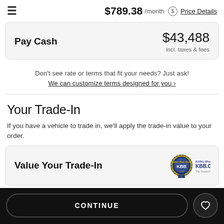≡  $789.38 /month  $ Price Details
| Pay Cash | Amount |
| --- | --- |
| Pay Cash | $43,488
incl. taxes & fees |
Don't see rate or terms that fit your needs? Just ask!
We can customize terms designed for you ›
Your Trade-In
If you have a vehicle to trade in, we'll apply the trade-in value to your order.
Value Your Trade-In